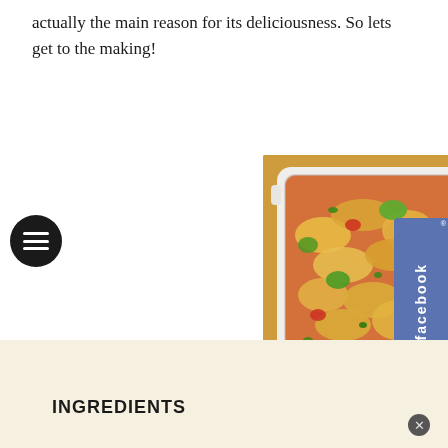actually the main reason for its deliciousness. So lets get to the making!
[Figure (photo): A white rectangular baking dish filled with a colorful stir-fried vegetable dish featuring cabbage, green peppers, red peppers, and other vegetables in a reddish-orange sauce, garnished with fresh herbs. Dish is on a light wooden surface.]
INGREDIENTS